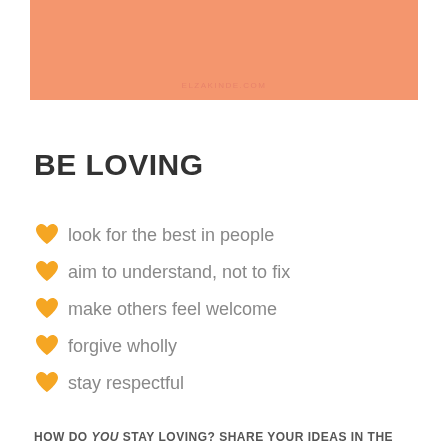[Figure (other): Salmon/peach colored rectangular banner with text ELZAKINDE.COM]
BE LOVING
look for the best in people
aim to understand, not to fix
make others feel welcome
forgive wholly
stay respectful
HOW DO YOU STAY LOVING? SHARE YOUR IDEAS IN THE